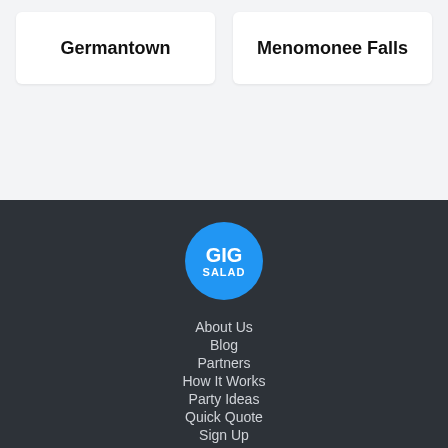Germantown
Menomonee Falls
[Figure (logo): GigSalad circular blue logo with white text GIG SALAD]
About Us
Blog
Partners
How It Works
Party Ideas
Quick Quote
Sign Up